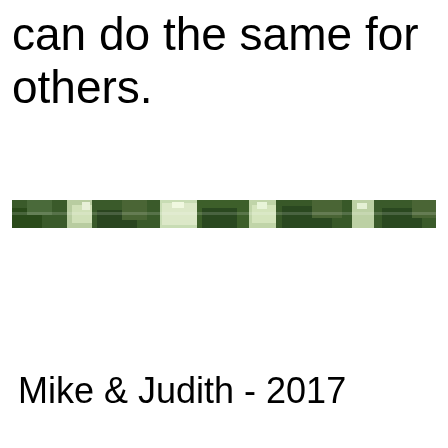can do the same for others.
[Figure (photo): A narrow horizontal strip photograph showing a forest canopy with green trees and patches of sky, viewed from below or at a low angle.]
Mike & Judith - 2017